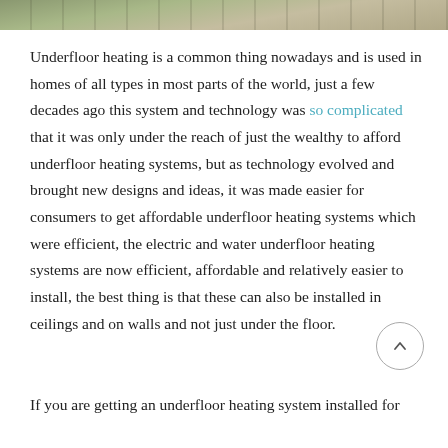[Figure (photo): Aerial or overhead photo strip showing what appears to be a road or infrastructure, muted green and brown tones.]
Underfloor heating is a common thing nowadays and is used in homes of all types in most parts of the world, just a few decades ago this system and technology was so complicated that it was only under the reach of just the wealthy to afford underfloor heating systems, but as technology evolved and brought new designs and ideas, it was made easier for consumers to get affordable underfloor heating systems which were efficient, the electric and water underfloor heating systems are now efficient, affordable and relatively easier to install, the best thing is that these can also be installed in ceilings and on walls and not just under the floor.
If you are getting an underfloor heating system installed for